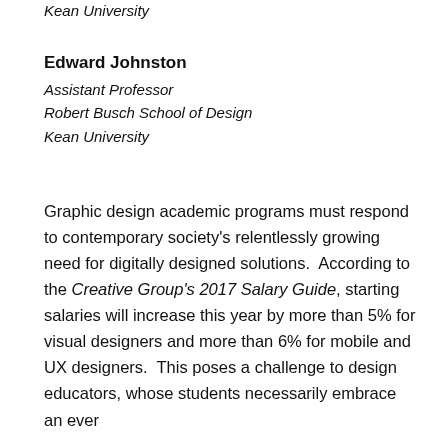Kean University
Edward Johnston
Assistant Professor
Robert Busch School of Design
Kean University
Graphic design academic programs must respond to contemporary society's relentlessly growing need for digitally designed solutions.  According to the Creative Group's 2017 Salary Guide, starting salaries will increase this year by more than 5% for visual designers and more than 6% for mobile and UX designers.  This poses a challenge to design educators, whose students necessarily embrace an ever